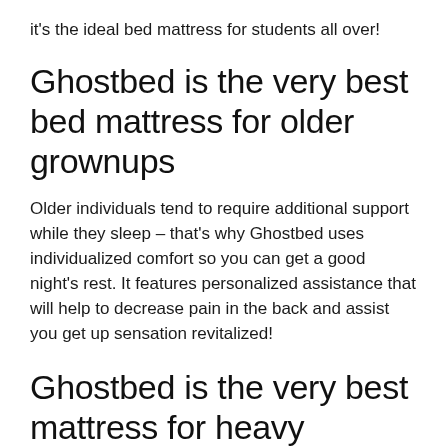it's the ideal bed mattress for students all over!
Ghostbed is the very best bed mattress for older grownups
Older individuals tend to require additional support while they sleep – that's why Ghostbed uses individualized comfort so you can get a good night's rest. It features personalized assistance that will help to decrease pain in the back and assist you get up sensation revitalized!
Ghostbed is the very best mattress for heavy individuals